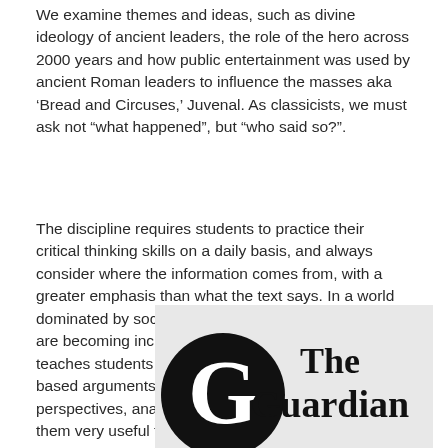We examine themes and ideas, such as divine ideology of ancient leaders, the role of the hero across 2000 years and how public entertainment was used by ancient Roman leaders to influence the masses aka ‘Bread and Circuses,’ Juvenal. As classicists, we must ask not “what happened”, but “who said so?”.
The discipline requires students to practice their critical thinking skills on a daily basis, and always consider where the information comes from, with a greater emphasis than what the text says. In a world dominated by social media and fake news, these skills are becoming increasingly desirable. Classical Studies teaches students how to persuade, form evidence-based arguments, see things from different perspectives, analyse, critique, and bonus - makes them very useful travel companions!
[Figure (logo): The Guardian newspaper logo — black circle with a white G letterform on the left, and 'The Guardian' in serif bold black text on the right, on a light grey background.]